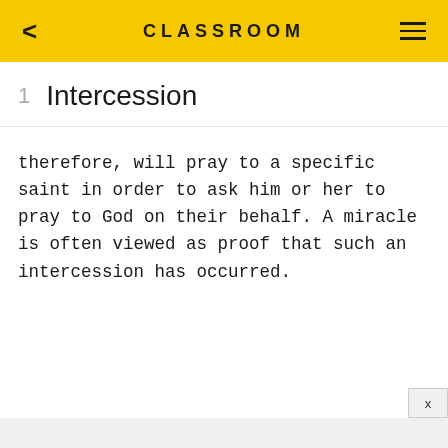CLASSROOM
1  Intercession
therefore, will pray to a specific saint in order to ask him or her to pray to God on their behalf. A miracle is often viewed as proof that such an intercession has occurred.